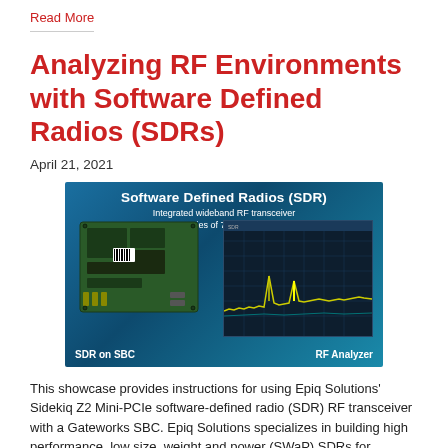Read More
Analyzing RF Environments with Software Defined Radios (SDRs)
April 21, 2021
[Figure (photo): Software Defined Radios (SDR) promotional image showing an SDR board on a Single Board Computer (SBC) on the left and an RF Analyzer spectrum display on the right. Text reads: 'Software Defined Radios (SDR)', 'Integrated wideband RF transceiver', 'Frequencies of 70 MHz to 6 GHz', 'SDR on SBC', 'RF Analyzer']
This showcase provides instructions for using Epiq Solutions' Sidekiq Z2 Mini-PCIe software-defined radio (SDR) RF transceiver with a Gateworks SBC. Epiq Solutions specializes in building high performance, low size, weight and power (SWaP) SDRs for